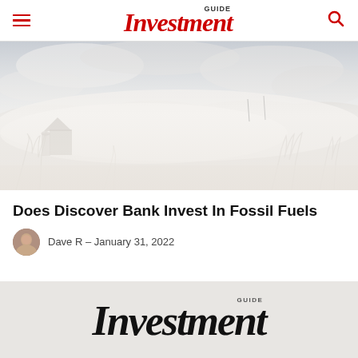Investment GUIDE
[Figure (photo): Misty winter landscape with a barn partially obscured by fog, bare trees in foreground, cloudy sky]
Does Discover Bank Invest In Fossil Fuels
Dave R – January 31, 2022
Investment GUIDE